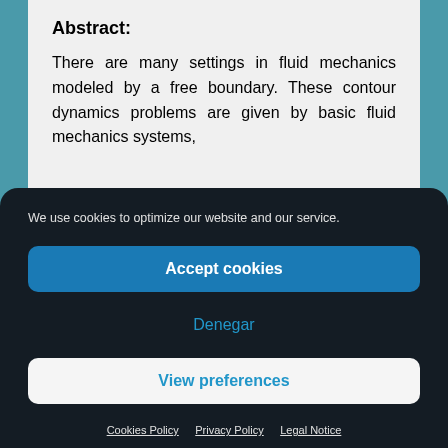Abstract:
There are many settings in fluid mechanics modeled by a free boundary. These contour dynamics problems are given by basic fluid mechanics systems,
We use cookies to optimize our website and our service.
Accept cookies
Denegar
View preferences
Cookies Policy   Privacy Policy   Legal Notice